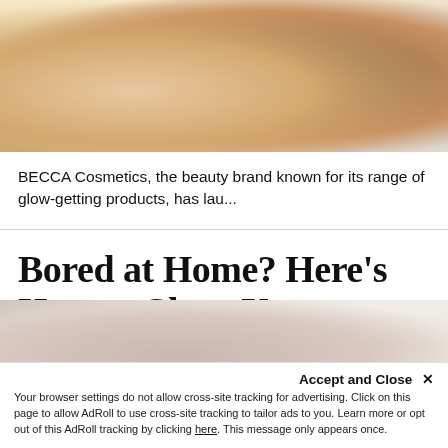[Figure (photo): Cropped photo showing arms and torsos of people with different skin tones against a light/yellow background, some with tattoos, wearing white clothing]
BECCA Cosmetics, the beauty brand known for its range of glow-getting products, has lau...
Bored at Home? Here's How to Clean Your Makeup Brushes and Sponges
[Figure (photo): Partial image showing makeup brushes and sponges being cleaned]
Accept and Close ✕
Your browser settings do not allow cross-site tracking for advertising. Click on this page to allow AdRoll to use cross-site tracking to tailor ads to you. Learn more or opt out of this AdRoll tracking by clicking here. This message only appears once.